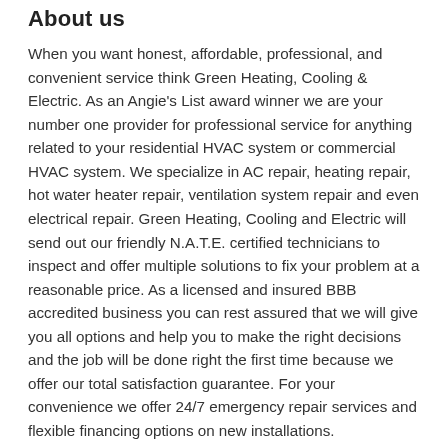About us
When you want honest, affordable, professional, and convenient service think Green Heating, Cooling & Electric. As an Angie's List award winner we are your number one provider for professional service for anything related to your residential HVAC system or commercial HVAC system. We specialize in AC repair, heating repair, hot water heater repair, ventilation system repair and even electrical repair. Green Heating, Cooling and Electric will send out our friendly N.A.T.E. certified technicians to inspect and offer multiple solutions to fix your problem at a reasonable price. As a licensed and insured BBB accredited business you can rest assured that we will give you all options and help you to make the right decisions and the job will be done right the first time because we offer our total satisfaction guarantee. For your convenience we offer 24/7 emergency repair services and flexible financing options on new installations.